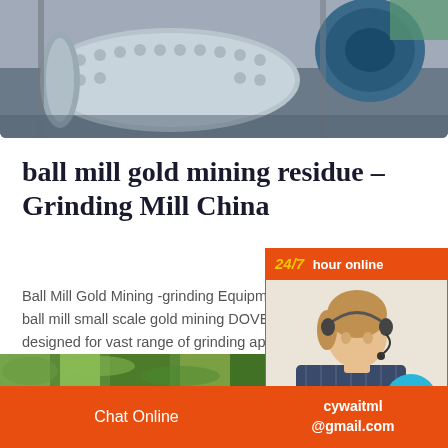[Figure (photo): Industrial ball mill machinery in a factory/mining facility, showing large cylindrical grinding equipment in grey tones with structural framework]
ball mill gold mining residue – Grinding Mill China
Ball Mill Gold Mining -grinding Equipment ball mill small scale gold mining DOVE B designed for vast range of grinding appliio
[Figure (infographic): 24/7 hour online chat widget with female customer service agent wearing headset, chat bubble icon, Click to chat button, and Enquiry button]
[Figure (photo): Green foliage/plant material secondary image strip]
Chat Online   cywaitml @gmail.com